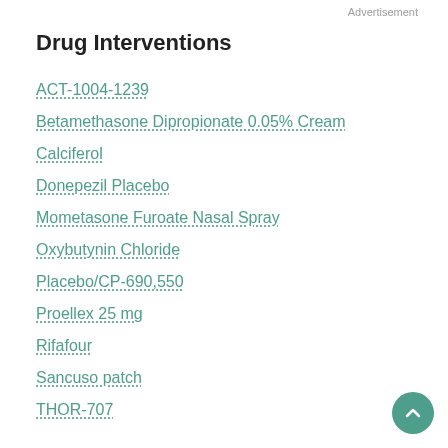Advertisement
Drug Interventions
ACT-1004-1239
Betamethasone Dipropionate 0.05% Cream
Calciferol
Donepezil Placebo
Mometasone Furoate Nasal Spray
Oxybutynin Chloride
Placebo/CP-690,550
Proellex 25 mg
Rifafour
Sancuso patch
THOR-707